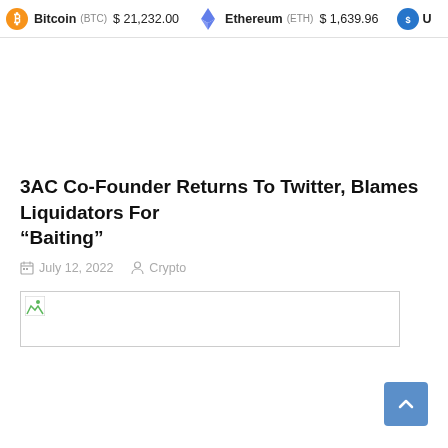Bitcoin (BTC) $21,232.00   Ethereum (ETH) $1,639.96   U
3AC Co-Founder Returns To Twitter, Blames Liquidators For “Baiting”
July 12, 2022   Crypto
[Figure (photo): Broken image placeholder for article thumbnail]